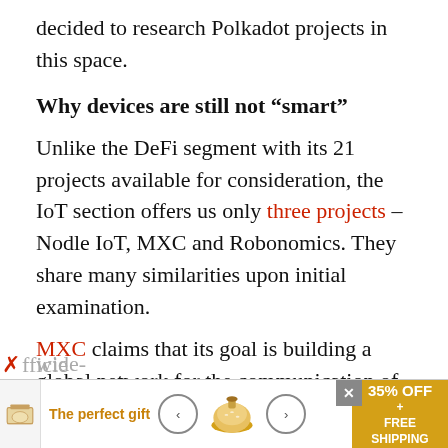decided to research Polkadot projects in this space.
Why devices are still not “smart”
Unlike the DeFi segment with its 21 projects available for consideration, the IoT section offers us only three projects – Nodle IoT, MXC and Robonomics. They share many similarities upon initial examination.
MXC claims that its goal is building a global network for the communication of IoT devices. MXC itself (Machine eXchange Coin) is a protocol that leverages LPWAN (low-po…r wide-… fficie…
[Figure (other): Advertisement banner at bottom of page: 'The perfect gift' with rice cooker image, navigation arrows, close button, and '35% OFF + FREE SHIPPING' promo badge]